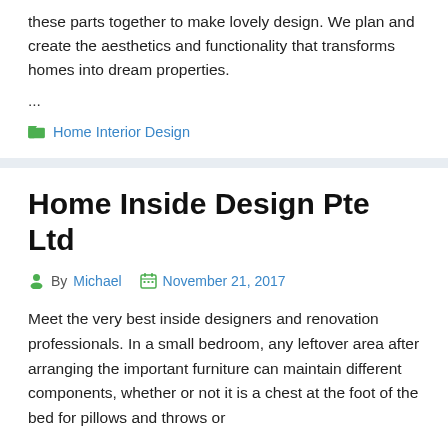these parts together to make lovely design. We plan and create the aesthetics and functionality that transforms homes into dream properties.
...
Home Interior Design
Home Inside Design Pte Ltd
By Michael   November 21, 2017
Meet the very best inside designers and renovation professionals. In a small bedroom, any leftover area after arranging the important furniture can maintain different components, whether or not it is a chest at the foot of the bed for pillows and throws or